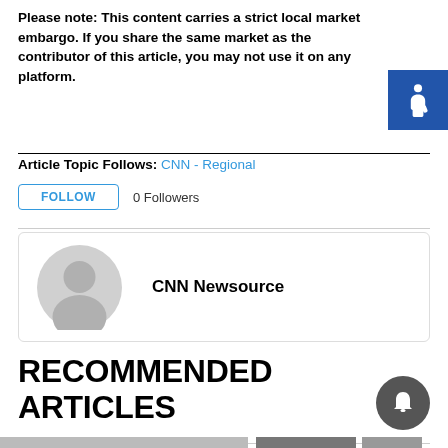Please note: This content carries a strict local market embargo. If you share the same market as the contributor of this article, you may not use it on any platform.
[Figure (illustration): Blue square with white wheelchair accessibility symbol]
Article Topic Follows: CNN - Regional
FOLLOW  0 Followers
[Figure (illustration): Profile card showing generic gray avatar icon and the text CNN Newsource]
RECOMMENDED ARTICLES
[Figure (photo): Partial bottom strip showing three article thumbnail images]
[Figure (illustration): Dark gray bell notification icon in circular button]